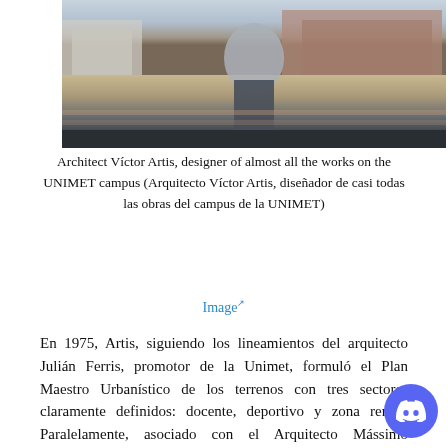[Figure (photo): Photograph of Architect Víctor Artis standing on the UNIMET campus with university buildings visible in the background]
Architect Víctor Artis, designer of almost all the works on the UNIMET campus (Arquitecto Víctor Artis, diseñador de casi todas las obras del campus de la UNIMET)
Image
En 1975, Artis, siguiendo los lineamientos del arquitecto Julián Ferris, promotor de la Unimet, formuló el Plan Maestro Urbanístico de los terrenos con tres sectores claramente definidos: docente, deportivo y zona rental. Paralelamente, asociado con el Arquitecto Mássimo Ruggiero, desarrolló los proyectos del edificio Eugenio Mendoza Goiticoa, y los sucesivos edificios de Aulas 1, 2 y 3, además de la capilla universitaria.